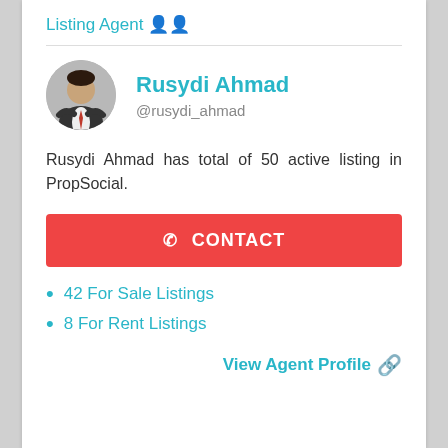Listing Agent
[Figure (photo): Circular profile photo of Rusydi Ahmad, a man in a suit with arms crossed]
Rusydi Ahmad
@rusydi_ahmad
Rusydi Ahmad has total of 50 active listing in PropSocial.
✆ CONTACT
42 For Sale Listings
8 For Rent Listings
View Agent Profile